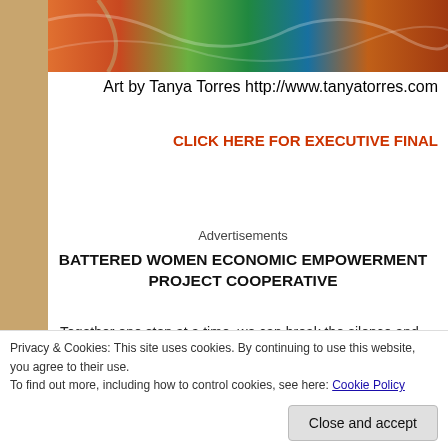[Figure (illustration): Colorful abstract art image strip at top of page — swirling colors of orange, green, blue, brown]
Art by Tanya Torres
http://www.tanyatorres.com
CLICK HERE FOR EXECUTIVE FINAL
Advertisements
BATTERED WOMEN ECONOMIC EMPOWERMENT PROJECT COOPERATIVE
Together one step at a time, we can break the silence and the cycle that hav
Privacy & Cookies: This site uses cookies. By continuing to use this website, you agree to their use. To find out more, including how to control cookies, see here: Cookie Policy
Close and accept